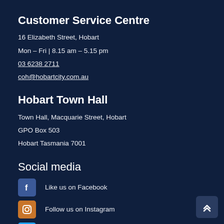Customer Service Centre
16 Elizabeth Street, Hobart
Mon – Fri | 8.15 am – 5.15 pm
03 6238 2711
coh@hobartcity.com.au
Hobart Town Hall
Town Hall, Macquarie Street, Hobart
GPO Box 503
Hobart Tasmania 7001
Social media
Like us on Facebook
Follow us on Instagram
Follow us on Twitter
View our YouTube channel
Follow us on LinkedIn